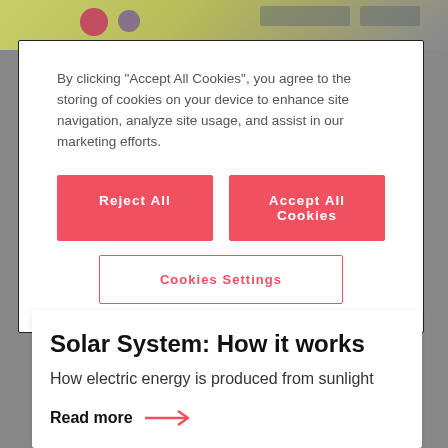[Figure (screenshot): Top strip showing partial website header/image in yellow-green tones]
By clicking “Accept All Cookies”, you agree to the storing of cookies on your device to enhance site navigation, analyze site usage, and assist in our marketing efforts.
Reject All
Accept All Cookies
Cookies Settings
Solar System: How it works
How electric energy is produced from sunlight
Read more →